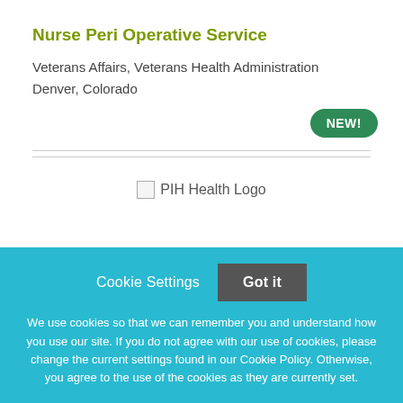Nurse Peri Operative Service
Veterans Affairs, Veterans Health Administration
Denver, Colorado
[Figure (logo): PIH Health Logo placeholder image]
Cookie Settings   Got it

We use cookies so that we can remember you and understand how you use our site. If you do not agree with our use of cookies, please change the current settings found in our Cookie Policy. Otherwise, you agree to the use of the cookies as they are currently set.